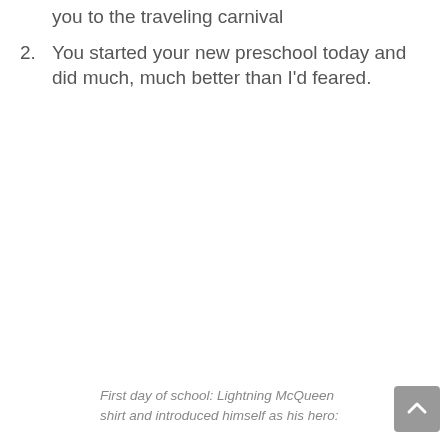you to the traveling carnival
2. You started your new preschool today and did much, much better than I'd feared.
First day of school: Lightning McQueen shirt and introduced himself as his hero: